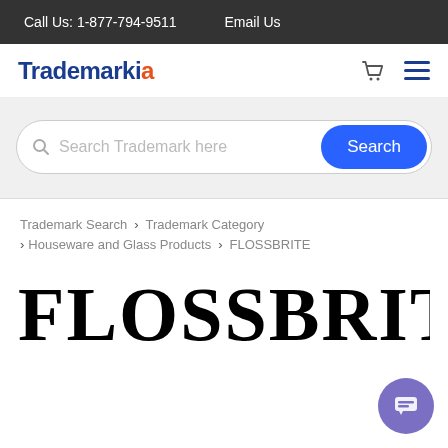Call Us: 1-877-794-9511   Email Us
[Figure (logo): Trademarkia logo with blue text and orange dot]
Search Trademark here
Trademark Search > Trademark Category > Houseware and Glass Products > FLOSSBRITE
FLOSSBRITE